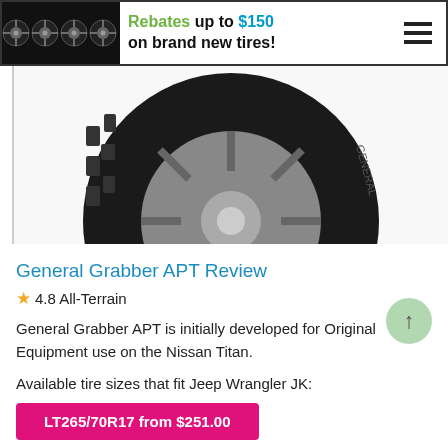[Figure (other): Promotional banner with four black alloy wheels on left, text 'Rebates up to $150 on brand new tires!' in center, and hamburger menu icon on right]
[Figure (photo): Close-up photo of a General Grabber APT all-terrain tire mounted on a gray alloy wheel, showing tread pattern and sidewall lettering]
General Grabber APT Review
★4.8 All-Terrain
General Grabber APT is initially developed for Original Equipment use on the Nissan Titan.
Available tire sizes that fit Jeep Wrangler JK:
LT265/70R17 from $251.00